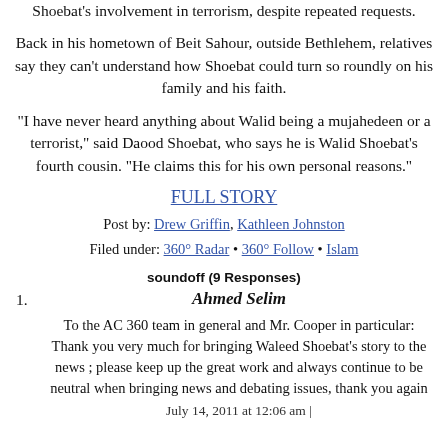Shoebat's involvement in terrorism, despite repeated requests.
Back in his hometown of Beit Sahour, outside Bethlehem, relatives say they can't understand how Shoebat could turn so roundly on his family and his faith.
"I have never heard anything about Walid being a mujahedeen or a terrorist," said Daood Shoebat, who says he is Walid Shoebat's fourth cousin. "He claims this for his own personal reasons."
FULL STORY
Post by: Drew Griffin, Kathleen Johnston
Filed under: 360° Radar • 360° Follow • Islam
soundoff (9 Responses)
Ahmed Selim
To the AC 360 team in general and Mr. Cooper in particular: Thank you very much for bringing Waleed Shoebat's story to the news ; please keep up the great work and always continue to be neutral when bringing news and debating issues, thank you again
July 14, 2011 at 12:06 am |